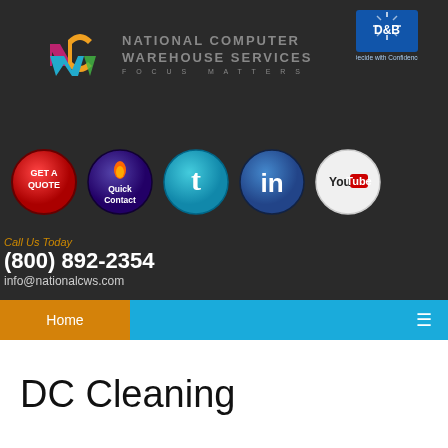[Figure (logo): NCW (National Computer Warehouse Services) colorful logo with stylized letters n, c, w in pink/orange/blue/green and tagline FOCUS MATTERS]
[Figure (logo): D&B Dun & Bradstreet badge with text 'Decide with Confidence']
[Figure (infographic): Row of circular social/action buttons: red 'GET A QUOTE' button, purple 'Quick Contact' button with flame icon, teal Twitter button, blue LinkedIn button, white YouTube button]
Call Us Today
(800) 892-2354
info@nationalcws.com
Home
DC Cleaning